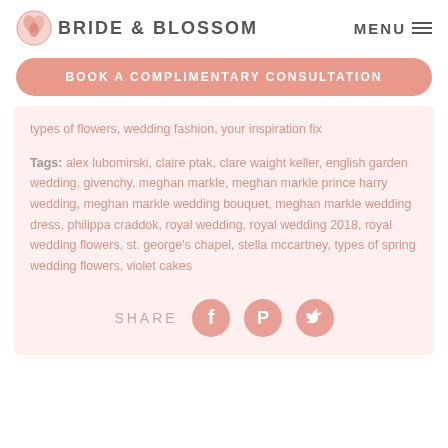BRIDE & BLOSSOM   MENU
BOOK A COMPLIMENTARY CONSULTATION
types of flowers, wedding fashion, your inspiration fix
Tags: alex lubomirski, claire ptak, clare waight keller, english garden wedding, givenchy, meghan markle, meghan markle prince harry wedding, meghan markle wedding bouquet, meghan markle wedding dress, philippa craddok, royal wedding, royal wedding 2018, royal wedding flowers, st. george's chapel, stella mccartney, types of spring wedding flowers, violet cakes
SHARE